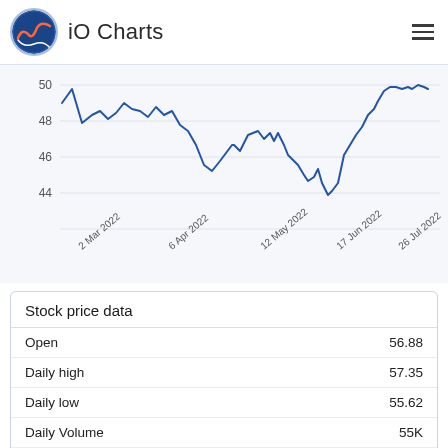iO Charts
[Figure (continuous-plot): Stock price line chart from 2 Mar 2022 to 26 Jul 2022, y-axis ranging from ~44 to 50+, showing price fluctuations with peaks near 50 and troughs near 45.]
Stock price data
|  |  |
| --- | --- |
| Open | 56.88 |
| Daily high | 57.35 |
| Daily low | 55.62 |
| Daily Volume | 55K |
| All-time high | 58.85 |
| 1y analyst estimate | 54.00 |